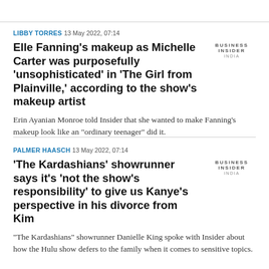LIBBY TORRES 13 May 2022, 07:14
Elle Fanning's makeup as Michelle Carter was purposefully 'unsophisticated' in 'The Girl from Plainville,' according to the show's makeup artist
[Figure (logo): Business Insider India logo]
Erin Ayanian Monroe told Insider that she wanted to make Fanning's makeup look like an "ordinary teenager" did it.
PALMER HAASCH 13 May 2022, 07:14
'The Kardashians' showrunner says it's 'not the show's responsibility' to give us Kanye's perspective in his divorce from Kim
[Figure (logo): Business Insider India logo]
"The Kardashians" showrunner Danielle King spoke with Insider about how the Hulu show defers to the family when it comes to sensitive topics.